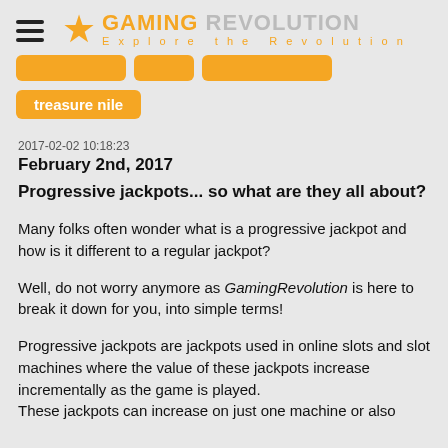GAMING REVOLUTION — Explore the Revolution
treasure nile
2017-02-02 10:18:23
February 2nd, 2017
Progressive jackpots... so what are they all about?
Many folks often wonder what is a progressive jackpot and how is it different to a regular jackpot?
Well, do not worry anymore as GamingRevolution is here to break it down for you, into simple terms!
Progressive jackpots are jackpots used in online slots and slot machines where the value of these jackpots increase incrementally as the game is played. These jackpots can increase on just one machine or also